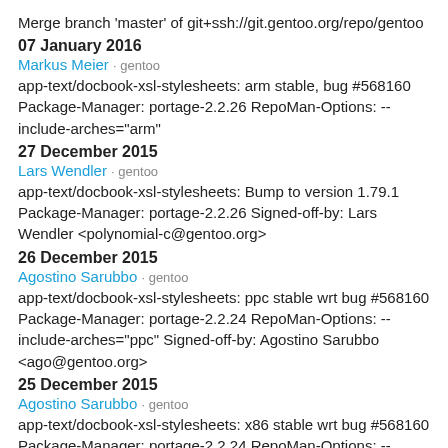Merge branch 'master' of git+ssh://git.gentoo.org/repo/gentoo
07 January 2016
Markus Meier · gentoo
app-text/docbook-xsl-stylesheets: arm stable, bug #568160 Package-Manager: portage-2.2.26 RepoMan-Options: --include-arches="arm"
27 December 2015
Lars Wendler · gentoo
app-text/docbook-xsl-stylesheets: Bump to version 1.79.1 Package-Manager: portage-2.2.26 Signed-off-by: Lars Wendler <polynomial-c@gentoo.org>
26 December 2015
Agostino Sarubbo · gentoo
app-text/docbook-xsl-stylesheets: ppc stable wrt bug #568160 Package-Manager: portage-2.2.24 RepoMan-Options: --include-arches="ppc" Signed-off-by: Agostino Sarubbo <ago@gentoo.org>
25 December 2015
Agostino Sarubbo · gentoo
app-text/docbook-xsl-stylesheets: x86 stable wrt bug #568160 Package-Manager: portage-2.2.24 RepoMan-Options: --include-arches="x86" Signed-off-by: Agostino Sarubbo